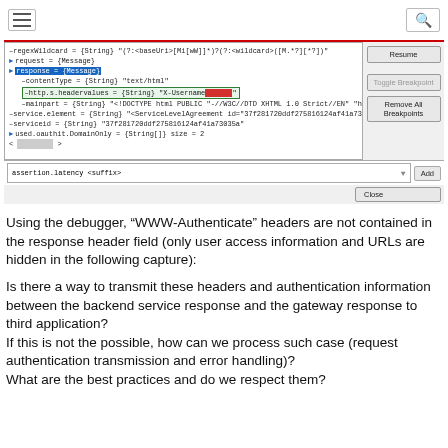[Figure (screenshot): Debugger panel screenshot showing HTTP response variables with blue highlighted 'response = {Message}' and green-bordered 'http.s.headervalues = {String} X-Username...' line, with side buttons Resume, Toggle Breakpoint, Remove All Breakpoints, Close, and an 'assertion.latency <suffix>' input with Add button.]
Using the debugger, "WWW-Authenticate" headers are not contained in the response header field (only user access information and URLs are hidden in the following capture):
Is there a way to transmit these headers and authentication information between the backend service response and the gateway response to third application?
If this is not the possible, how can we process such case (request authentication transmission and error handling)?
What are the best practices and do we respect them?